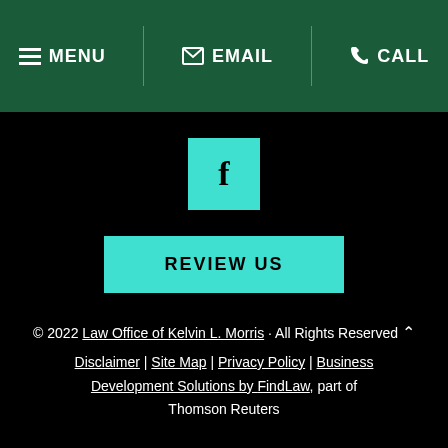MENU | EMAIL | CALL
[Figure (logo): Facebook social media icon — teal/turquoise square with black letter f]
REVIEW US
© 2022 Law Office of Kelvin L. Morris · All Rights Reserved
Disclaimer | Site Map | Privacy Policy | Business Development Solutions by FindLaw, part of Thomson Reuters